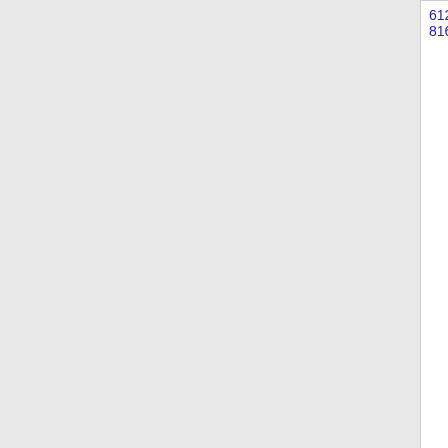| NPA-NXX | State | Company Name | OCN | Rate Center |
| --- | --- | --- | --- | --- |
| 612-816 | MN | CELLCO PARTNERSHIP DBA VERIZON (Verizon Wireless) | 5816 | TWINCI... |
| 612-834 | MN | CELLCO PARTNERSHIP DBA VERIZON (Verizon Wireless) | 5816 | TWINCI... |